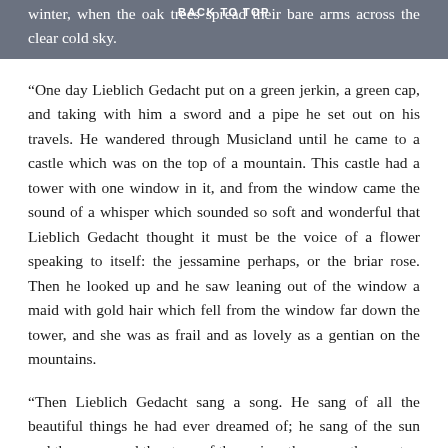winter, when the oak trees spread their bare arms across the clear cold sky.
BACK TO TOP
“One day Lieblich Gedacht put on a green jerkin, a green cap, and taking with him a sword and a pipe he set out on his travels. He wandered through Musicland until he came to a castle which was on the top of a mountain. This castle had a tower with one window in it, and from the window came the sound of a whisper which sounded so soft and wonderful that Lieblich Gedacht thought it must be the voice of a flower speaking to itself: the jessamine perhaps, or the briar rose. Then he looked up and he saw leaning out of the window a maid with gold hair which fell from the window far down the tower, and she was as frail and as lovely as a gentian on the mountains.
“Then Lieblich Gedacht sang a song. He sang of all the beautiful things he had ever dreamed of; he sang of the sun and the moon and the stars, of the spring, the grass, the great